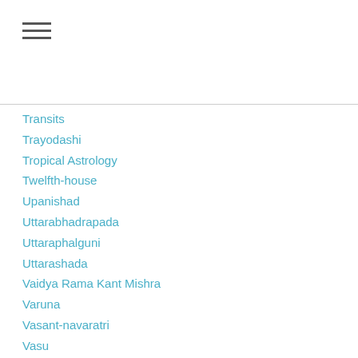Transits
Trayodashi
Tropical Astrology
Twelfth-house
Upanishad
Uttarabhadrapada
Uttaraphalguni
Uttarashada
Vaidya Rama Kant Mishra
Varuna
Vasant-navaratri
Vasu
Vasudeva
Vasu Devas
Vayu
Venus
Venus In Aries
Venus C…